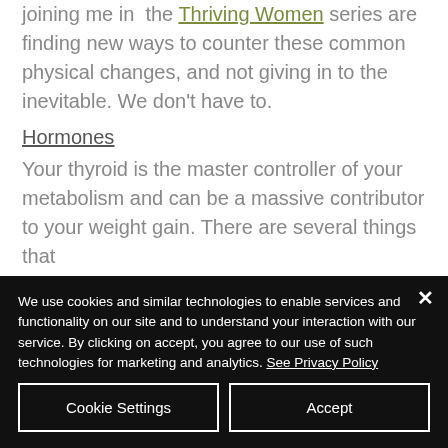However, those of you who are joining me in the Thriving Women series are finding new ways to counter these common physical changes, and not giving in to the inevitable. We don't have to.
Hormones
Your thyroid is the master controller of your metabolism and can be a massive contributor to your weight gain. There are several things that
We use cookies and similar technologies to enable services and functionality on our site and to understand your interaction with our service. By clicking on accept, you agree to our use of such technologies for marketing and analytics. See Privacy Policy